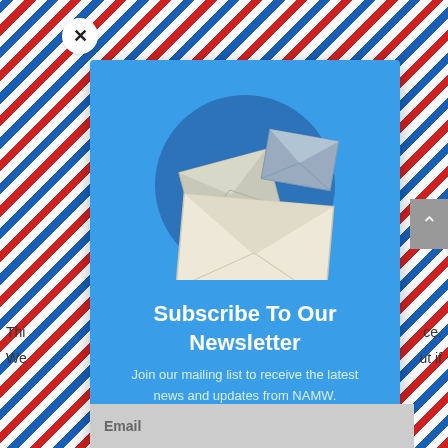[Figure (screenshot): Newsletter subscription modal popup on a webpage with airmail-style border. Contains envelope illustration, bold headline 'Subscribe To Our Newsletter', subtitle text, and partial background webpage text visible. A close (X) button appears top-left, and a scroll-up button on the right side.]
Subscribe To Our Newsletter
Join our mailing list to receive the latest news and updates from NAMW.
Thi                                                                  ce.
We                                                                  ut if
Email